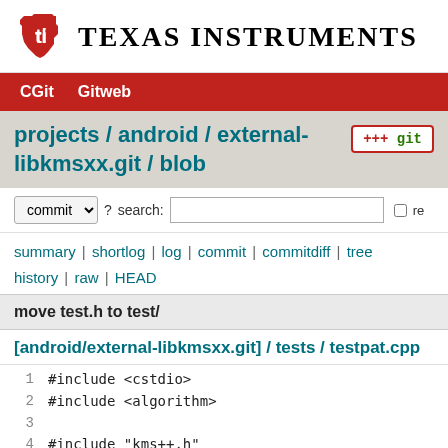[Figure (logo): Texas Instruments logo with red state outline and bold TI letters, followed by TEXAS INSTRUMENTS text]
CGit   Gitweb
projects / android / external-libkmsxx.git / blob
commit ? search: re
summary | shortlog | log | commit | commitdiff | tree history | raw | HEAD
move test.h to test/
[android/external-libkmsxx.git] / tests / testpat.cpp
1 #include <cstdio>
2 #include <algorithm>
3
4 #include "kms++.h"
5 #include "utils/testpat.h"
6
7 #include "test.h"
8